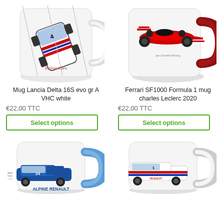[Figure (photo): White ceramic mug with illustration of Lancia Delta 16S evo rally car viewed from above, with text 'Italian Cars']
[Figure (photo): White ceramic mug with dark red/maroon handle and interior, featuring red Ferrari SF1000 Formula 1 car and text 'Charles Leclerc Racing']
Mug Lancia Delta 16S evo gr A VHC white
Ferrari SF1000 Formula 1 mug charles Leclerc 2020
€22,00 TTC
€22,00 TTC
Select options
Select options
[Figure (photo): White ceramic mug with blue handle and interior, featuring blue Alpine Renault car with text 'ALPINE RENAULT' at the bottom]
[Figure (photo): White ceramic mug featuring a white rally car (Peugeot) with racing livery]